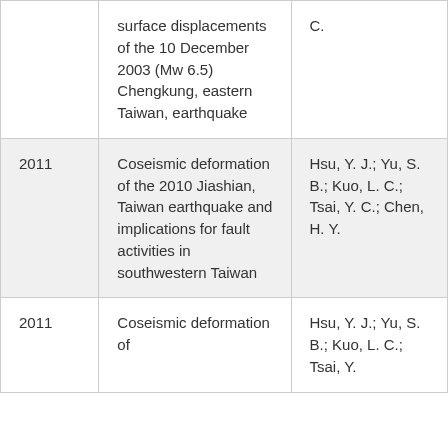|  | surface displacements of the 10 December 2003 (Mw 6.5) Chengkung, eastern Taiwan, earthquake | C. |
| 2011 | Coseismic deformation of the 2010 Jiashian, Taiwan earthquake and implications for fault activities in southwestern Taiwan | Hsu, Y. J.; Yu, S. B.; Kuo, L. C.; Tsai, Y. C.; Chen, H. Y. |
| 2011 | Coseismic deformation of | Hsu, Y. J.; Yu, S. B.; Kuo, L. C.; Tsai, Y. |